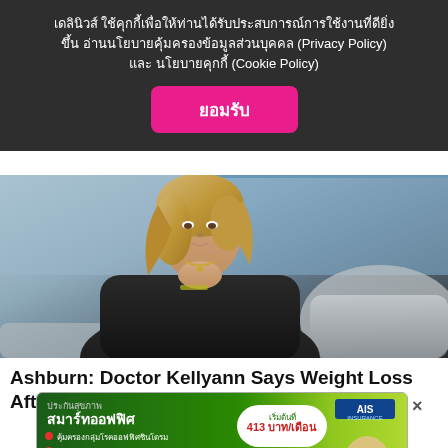เดลินิวส์ ใช้คุกกี้เพื่อให้ท่านได้รับประสบการณ์การใช้งานที่ดียิ่งขึ้น อ่านนโยบายคุ้มครองข้อมูลส่วนบุคคล (Privacy Policy) และ นโยบายคุกกี้ (Cookie Policy)
ยอมรับ
[Figure (photo): Woman with blonde hair sitting and resting chin on hand, wearing black outfit, seated on a couch in a studio setting]
Ashburn: Doctor Kellyann Says Weight Loss After 60 Comes Down to This
[Figure (infographic): Thai health insurance advertisement for 'Smart Office' insurance (สมาร์ทออฟฟิศ) by AIS. Features green background, bullet points about coverage including 300,000 baht, price 413 baht/month (413 บาท/เดือน), with a woman figure and yellow bottom bar with app download CTA.]